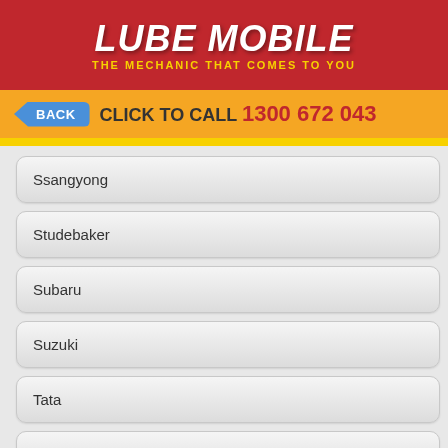[Figure (logo): Lube Mobile logo - red background with white italic bold text 'LUBE MOBILE' and yellow text 'THE MECHANIC THAT COMES TO YOU']
BACK   CLICK TO CALL 1300 672 043
Ssangyong
Studebaker
Subaru
Suzuki
Tata
Td Cars
Tesla
Tickford